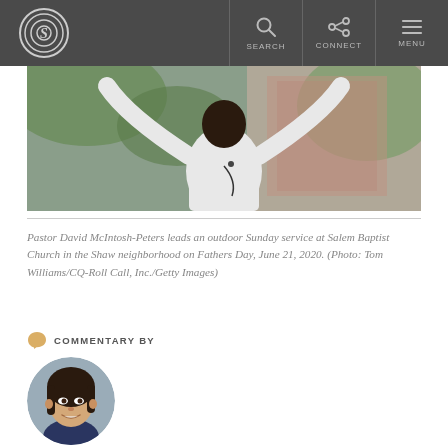Salem (S logo) | SEARCH | CONNECT | MENU
[Figure (photo): A man in a white shirt with arms raised outdoors, apparently leading a church service.]
Pastor David McIntosh-Peters leads an outdoor Sunday service at Salem Baptist Church in the Shaw neighborhood on Fathers Day, June 21, 2020. (Photo: Tom Williams/CQ-Roll Call, Inc./Getty Images)
COMMENTARY BY
[Figure (photo): Circular headshot photo of a smiling Asian woman, the article author.]